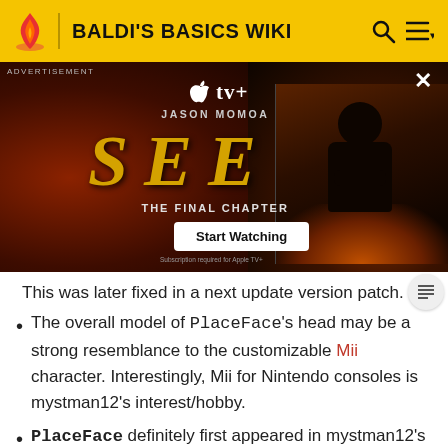BALDI'S BASICS WIKI
[Figure (screenshot): Advertisement banner for Apple TV+ show 'SEE: THE FINAL CHAPTER' featuring Jason Momoa. Shows dark dramatic imagery with golden SEE text and a 'Start Watching' button.]
This was later fixed in a next update version patch.
The overall model of PlaceFace's head may be a strong resemblance to the customizable Mii character. Interestingly, Mii for Nintendo consoles is mystman12's interest/hobby.
PlaceFace definitely first appeared in mystman12's unlisted "I'm a CGI Pro Now!" video (also revealing one scene that later inspire It's a Bully's head) since April 29, 2014, considering himself as a very first Baldi's